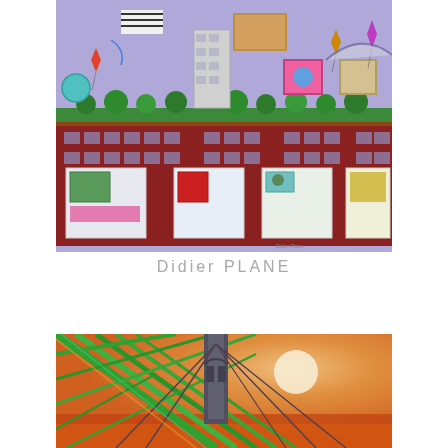[Figure (illustration): Colorful urban/city scene painting showing a row of brick buildings with large display windows featuring artworks, green rooftop gardens with trees, kites flying in a purple/lavender sky, with various colorful artworks and objects visible in windows and on rooftop.]
Didier PLANE
[Figure (photo): Close-up photograph of a bridge structure (appears to be Manhattan Bridge or similar) with green steel girders in the foreground and the bridge tower in the background against an orange/warm sunset sky.]